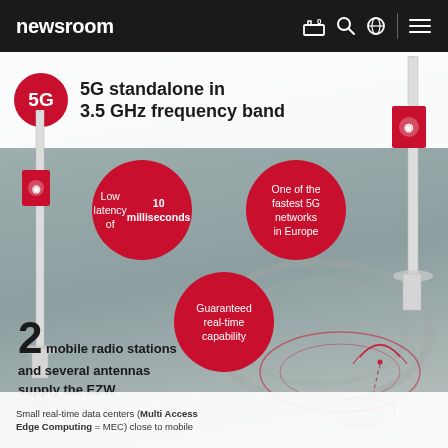newsroom
[Figure (infographic): 5G standalone in 3.5 GHz frequency band infographic from Vodafone Newsroom. Shows three red circles with key features: Low latency of 10 milliseconds, One of the fastest 5G networks in Europe, Guaranteed real-time capability. Background shows aerial view of a circuit/racetrack with two mobile radio tower illustrations. States: 2 mobile radio stations and several antennas supply the EZW. Bottom note about Small real-time data centers (Multi Access Edge Computing = MEC) close to mobile.]
5G standalone in 3.5 GHz frequency band
Low latency of 10 milliseconds
One of the fastest 5G networks in Europe
Guaranteed real-time capability
2 mobile radio stations and several antennas supply the EZW
Small real-time data centers (Multi Access Edge Computing = MEC) close to mobile